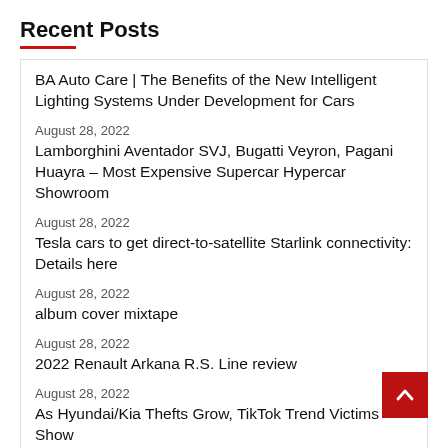Recent Posts
BA Auto Care | The Benefits of the New Intelligent Lighting Systems Under Development for Cars
August 28, 2022
Lamborghini Aventador SVJ, Bugatti Veyron, Pagani Huayra – Most Expensive Supercar Hypercar Showroom
August 28, 2022
Tesla cars to get direct-to-satellite Starlink connectivity: Details here
August 28, 2022
album cover mixtape
August 28, 2022
2022 Renault Arkana R.S. Line review
August 28, 2022
As Hyundai/Kia Thefts Grow, TikTok Trend Victims Show